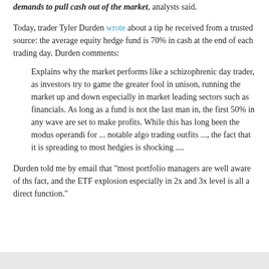demands to pull cash out of the market, analysts said.
Today, trader Tyler Durden wrote about a tip he received from a trusted source: the average equity hedge fund is 70% in cash at the end of each trading day. Durden comments:
Explains why the market performs like a schizophrenic day trader, as investors try to game the greater fool in unison, running the market up and down especially in market leading sectors such as financials. As long as a fund is not the last man in, the first 50% in any wave are set to make profits. While this has long been the modus operandi for ... notable algo trading outfits ..., the fact that it is spreading to most hedgies is shocking ....
Durden told me by email that "most portfolio managers are well aware of ths fact, and the ETF explosion especially in 2x and 3x level is all a direct function."